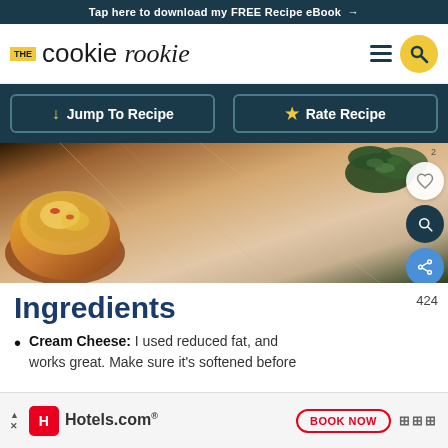Tap here to download my FREE Recipe eBook →
the cookie rookie
[Figure (photo): Food photo showing a cheesy baked pastry cup on a marble/stone surface with green herbs (parsley) in background]
Ingredients
Cream Cheese: I used reduced fat, and works great. Make sure it's softened before
[Figure (other): Hotels.com advertisement banner with BOOK NOW button]